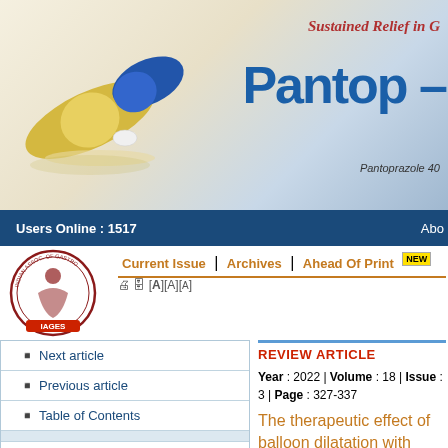[Figure (illustration): Pantop brand advertisement banner with capsule imagery and text 'Sustained Relief in G', 'Pantop-', 'Pantoprazole 40']
Users Online : 1517  |  Abo
[Figure (logo): IAGES (Indian Association of Gastrointestinal Endo Surgeons) circular logo]
Current Issue | Archives | Ahead Of Print NEW
Next article
Previous article
Table of Contents
Similar in PUBMED
Search Pubmed for
Yu ZY
Liang C
Yang SY
Zhang X
Sun Y
REVIEW ARTICLE
Year : 2022 | Volume : 18 | Issue : 3 | Page : 327-337
The therapeutic effect of balloon dilatation with different duration for biliary duct calculi: A network meta-analysis
Zhi Yuan Yu1, Chen Liang2, Shi Yu Yang1, Yu Zhang1, Yan Sun1